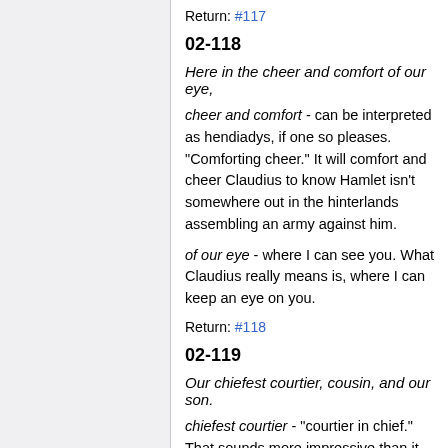Return: #117
02-118
Here in the cheer and comfort of our eye,
cheer and comfort - can be interpreted as hendiadys, if one so pleases. "Comforting cheer." It will comfort and cheer Claudius to know Hamlet isn't somewhere out in the hinterlands assembling an army against him.
of our eye - where I can see you. What Claudius really means is, where I can keep an eye on you.
Return: #118
02-119
Our chiefest courtier, cousin, and our son.
chiefest courtier - "courtier in chief." That sounds more impressive than it is, since all the courtiers, even the chiefest of them, are servants of the Crown. It's like